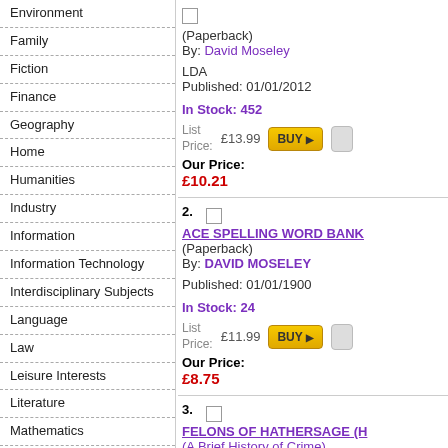Environment
Family
Fiction
Finance
Geography
Home
Humanities
Industry
Information
Information Technology
Interdisciplinary Subjects
Language
Law
Leisure Interests
Literature
Mathematics
Medicine
Planning
Practical Interests
Reference
Science
Social Sciences
Sport
Technology
Travel
Veterinary Science
(Paperback)
By: David Moseley

LDA
Published: 01/01/2012

In Stock: 452

List Price: £13.99
Our Price: £10.21
2. ACE SPELLING WORD BANK (Paperback)
By: DAVID MOSELEY

Published: 01/01/1900

In Stock: 24

List Price: £11.99
Our Price: £8.75
3. FELONS OF HATHERSAGE (H
(A Brief History of Crime)
By: David Moseley